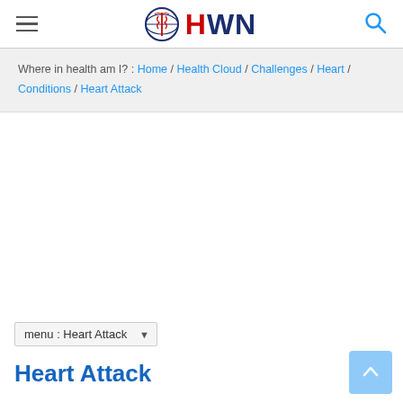HWN
Where in health am I? : Home / Health Cloud / Challenges / Heart / Conditions / Heart Attack
menu : Heart Attack
Heart Attack